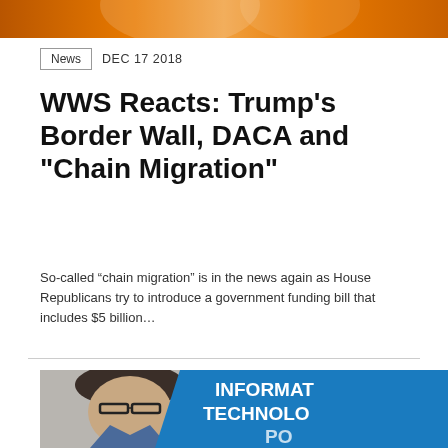[Figure (photo): Orange/amber colored banner image at top of page, partially cropped]
News   DEC 17 2018
WWS Reacts: Trump's Border Wall, DACA and "Chain Migration"
So-called “chain migration” is in the news again as House Republicans try to introduce a government funding bill that includes $5 billion…
[Figure (photo): Photo of a man in glasses on the left, blue panel on right with text reading INFORMAT... TECHNO... PO...]